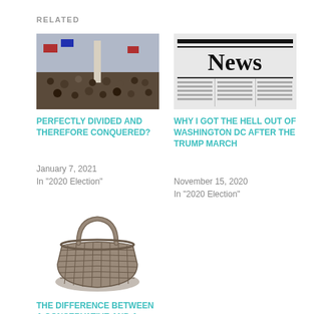RELATED
[Figure (photo): Crowd at a political rally near the Washington Monument with flags]
PERFECTLY DIVIDED AND THEREFORE CONQUERED?
January 7, 2021
In "2020 Election"
[Figure (photo): Newspaper front page with the word News in large bold text]
WHY I GOT THE HELL OUT OF WASHINGTON DC AFTER THE TRUMP MARCH
November 15, 2020
In "2020 Election"
[Figure (photo): A wicker shopping basket on white background]
THE DIFFERENCE BETWEEN A CONSERVATIVE AND A LIBERAL DEMOCRAT